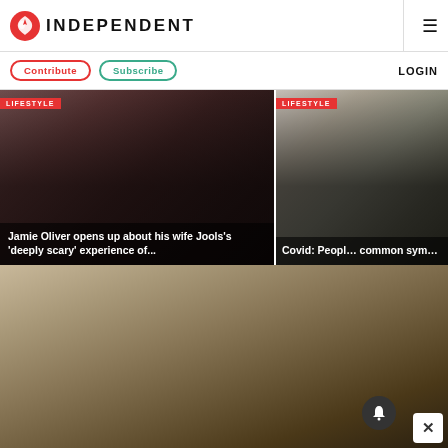INDEPENDENT
Contribute  Subscribe  LOGIN
[Figure (photo): Jamie Oliver and wife Jools Oliver smiling at an event, dark background with crowd]
Jamie Oliver opens up about his wife Jools's 'deeply scary' experience of...
[Figure (photo): Toilet roll being held up, lifestyle category image for Covid article]
Covid: Peopl... common sym...
[Figure (photo): Older couple sitting at a table in a home setting, bedroom visible, notification bell overlay and close button]